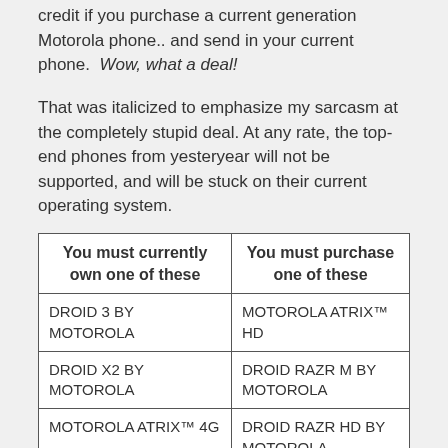credit if you purchase a current generation Motorola phone.. and send in your current phone. Wow, what a deal!
That was italicized to emphasize my sarcasm at the completely stupid deal. At any rate, the top-end phones from yesteryear will not be supported, and will be stuck on their current operating system.
| You must currently own one of these | You must purchase one of these |
| --- | --- |
| DROID 3 BY MOTOROLA | MOTOROLA ATRIX™ HD |
| DROID X2 BY MOTOROLA | DROID RAZR M BY MOTOROLA |
| MOTOROLA ATRIX™ 4G | DROID RAZR HD BY MOTOROLA |